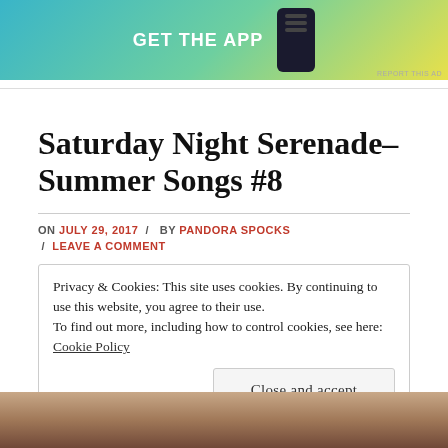[Figure (other): App advertisement banner with 'GET THE APP' text and phone graphic on gradient background]
Saturday Night Serenade–Summer Songs #8
ON JULY 29, 2017 / BY PANDORA SPOCKS / LEAVE A COMMENT
Privacy & Cookies: This site uses cookies. By continuing to use this website, you agree to their use.
To find out more, including how to control cookies, see here: Cookie Policy
Close and accept
[Figure (photo): Partial photo at bottom of page showing people]